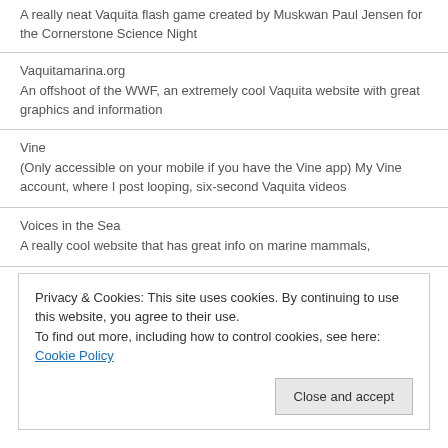A really neat Vaquita flash game created by Muskwan Paul Jensen for the Cornerstone Science Night
Vaquitamarina.org
An offshoot of the WWF, an extremely cool Vaquita website with great graphics and information
Vine
(Only accessible on your mobile if you have the Vine app) My Vine account, where I post looping, six-second Vaquita videos
Voices in the Sea
A really cool website that has great info on marine mammals,
Privacy & Cookies: This site uses cookies. By continuing to use this website, you agree to their use.
To find out more, including how to control cookies, see here: Cookie Policy